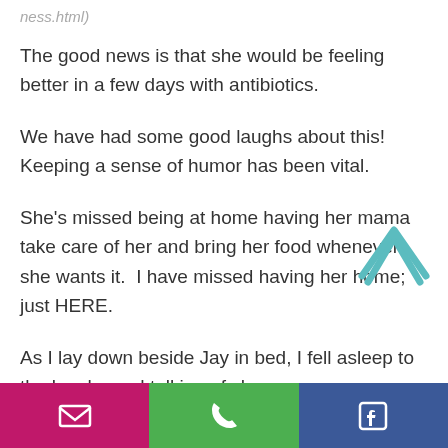ness.html)
The good news is that she would be feeling better in a few days with antibiotics.
We have had some good laughs about this! Keeping a sense of humor has been vital.
She's missed being at home having her mama take care of her and bring her food whenever she wants it.  I have missed having her home;  just HERE.
As I lay down beside Jay in bed, I fell asleep to the laughs and talking of she
[Figure (illustration): Up arrow / chevron icon in teal/cyan outline style]
Email | Phone | Facebook